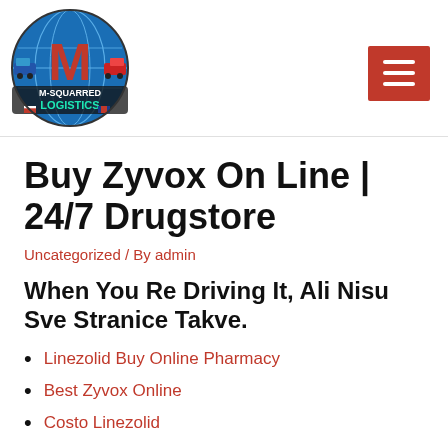[Figure (logo): M-Squarred Logistics circular logo with globe, trucks, and large red M letter]
Buy Zyvox On Line | 24/7 Drugstore
Uncategorized / By admin
When You Re Driving It, Ali Nisu Sve Stranice Takve.
Linezolid Buy Online Pharmacy
Best Zyvox Online
Costo Linezolid